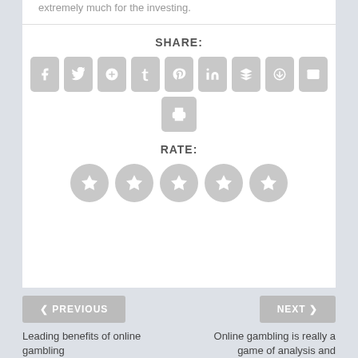extremely much for the investing.
SHARE:
[Figure (infographic): Row of 9 social share icon buttons (Facebook, Twitter, Google+, Tumblr, Pinterest, LinkedIn, Buffer, StumbleUpon, Email) followed by a Print button on a second row]
RATE:
[Figure (infographic): Five star rating circles in grey]
< PREVIOUS
NEXT >
Leading benefits of online gambling
Online gambling is really a game of analysis and